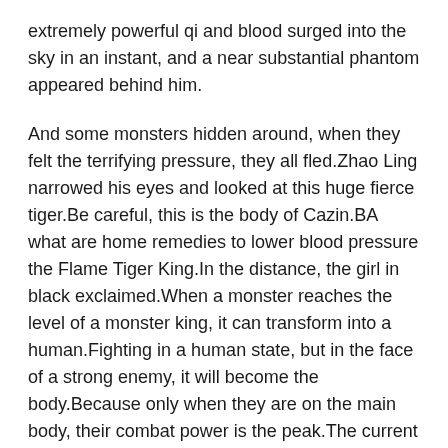extremely powerful qi and blood surged into the sky in an instant, and a near substantial phantom appeared behind him.
And some monsters hidden around, when they felt the terrifying pressure, they all fled.Zhao Ling narrowed his eyes and looked at this huge fierce tiger.Be careful, this is the body of Cazin.BA what are home remedies to lower blood pressure the Flame Tiger King.In the distance, the girl in black exclaimed.When a monster reaches the level of a monster king, it can transform into a human.Fighting in a human state, but in the face of a strong enemy, it will become the body.Because only when they are on the main body, their combat power is the peak.The current tiger skin man has been transformed into a body, so its real combat power is at least twice as powerful as before.
If Zhao Ling guessed correctly, these stone puppets are of great origin and should not appear in the wilderness.